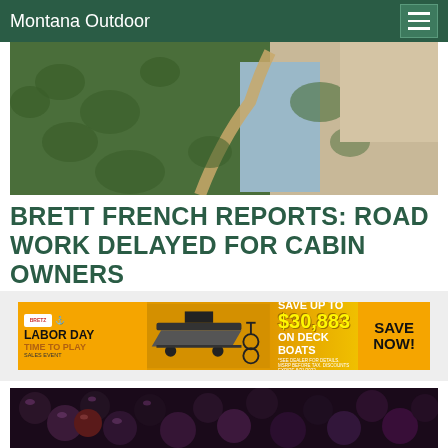Montana Outdoor
[Figure (photo): Aerial view of a mountain road through forested terrain next to a river with rocky banks]
BRETT FRENCH REPORTS: ROAD WORK DELAYED FOR CABIN OWNERS
[Figure (infographic): Bretz dealer advertisement banner: SAVE UP TO $30,883 ON DECK BOATS. LABOR DAY TIME TO PLAY SALES EVENT. SAVE NOW!]
[Figure (photo): Close-up photo of dark purple huckleberries]